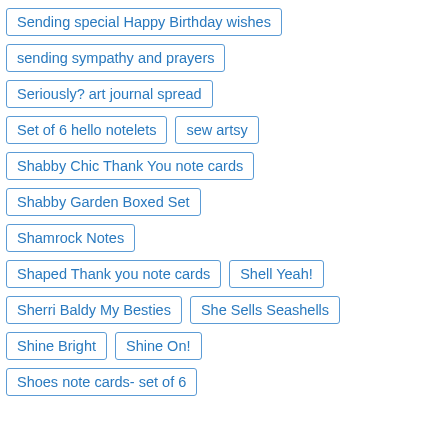Sending special Happy Birthday wishes
sending sympathy and prayers
Seriously? art journal spread
Set of 6 hello notelets
sew artsy
Shabby Chic Thank You note cards
Shabby Garden Boxed Set
Shamrock Notes
Shaped Thank you note cards
Shell Yeah!
Sherri Baldy My Besties
She Sells Seashells
Shine Bright
Shine On!
Shoes note cards- set of 6